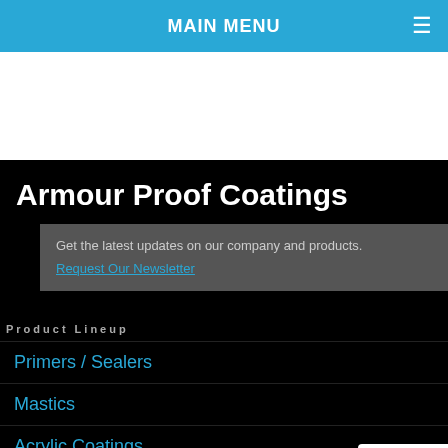MAIN MENU
Armour Proof Coatings
Get the latest updates on our company and products. Request Our Newsletter
Product Lineup
Primers / Sealers
Mastics
Acrylic Coatings
Low Slope Coatings